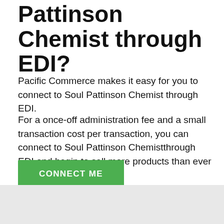Pattinson Chemist through EDI?
Pacific Commerce makes it easy for you to connect to Soul Pattinson Chemist through EDI.
For a once-off administration fee and a small transaction cost per transaction, you can connect to Soul Pattinson Chemistthrough EDI and begin to sell more products than ever before.
CONNECT ME